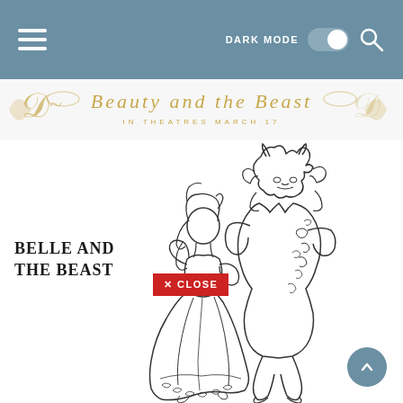Navigation bar with hamburger menu, DARK MODE toggle, and search icon
[Figure (logo): Beauty and the Beast movie logo with gold decorative swirls and text 'IN THEATRES MARCH 17']
BELLE AND THE BEAST
[Figure (illustration): Line art coloring page showing Belle and the Beast dancing together. Belle wears a flowing gown with floral details at the hem. The Beast wears an ornate embroidered coat with swirling patterns. They face each other in a dance embrace.]
✕ CLOSE